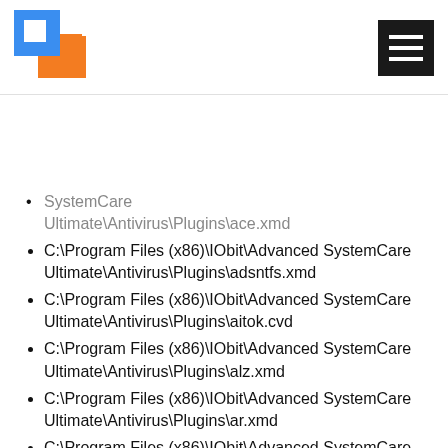[Figure (logo): Blue and orange square logo icon]
[Figure (other): Hamburger menu icon (three horizontal white lines on black background)]
SystemCare Ultimate\Antivirus\Plugins\ace.xmd (partial, top cut off)
C:\Program Files (x86)\IObit\Advanced SystemCare Ultimate\Antivirus\Plugins\adsntfs.xmd
C:\Program Files (x86)\IObit\Advanced SystemCare Ultimate\Antivirus\Plugins\aitok.cvd
C:\Program Files (x86)\IObit\Advanced SystemCare Ultimate\Antivirus\Plugins\alz.xmd
C:\Program Files (x86)\IObit\Advanced SystemCare Ultimate\Antivirus\Plugins\ar.xmd
C:\Program Files (x86)\IObit\Advanced SystemCare Ultimate\Antivirus\Plugins\arc.xmd
C:\Program Files (x86)\IObit\Advanced SystemCare Ultimate\Antivirus\Plugins\ari.xmd (partial, bottom cut off)